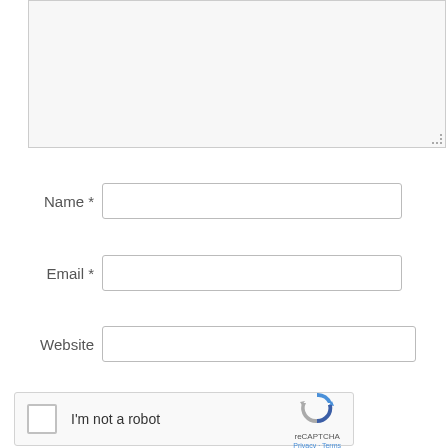[Figure (screenshot): Empty textarea input box with light gray background and resize handle at bottom-right corner]
Name *
[Figure (screenshot): Name text input field]
Email *
[Figure (screenshot): Email text input field]
Website
[Figure (screenshot): Website text input field]
[Figure (screenshot): reCAPTCHA widget with checkbox, 'I'm not a robot' text, and reCAPTCHA logo with Privacy and Terms links]